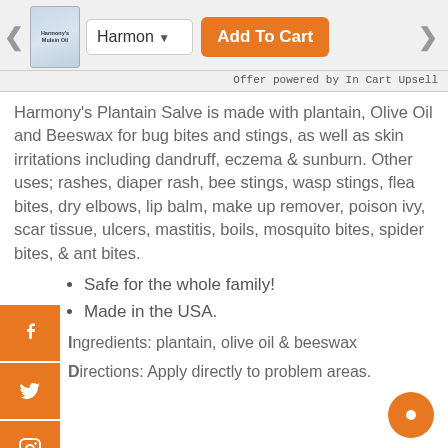[Figure (screenshot): Product image of Harmony's Mulsin Oil in a small blue bottle]
Harmon ▾  Add To Cart
Offer powered by In Cart Upsell
Harmony's Plantain Salve is made with plantain, Olive Oil and Beeswax for bug bites and stings, as well as skin irritations including dandruff, eczema & sunburn. Other uses; rashes, diaper rash, bee stings, wasp stings, flea bites, dry elbows, lip balm, make up remover, poison ivy, scar tissue, ulcers, mastitis, boils, mosquito bites, spider bites, & ant bites.
Safe for the whole family!
Made in the USA.
Ingredients: plantain, olive oil & beeswax
Directions: Apply directly to problem areas.